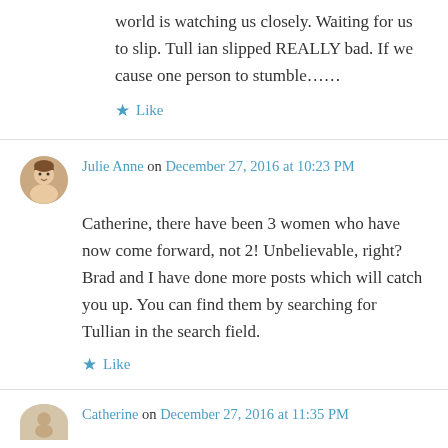world is watching us closely. Waiting for us to slip. Tull ian slipped REALLY bad. If we cause one person to stumble……
★ Like
Julie Anne on December 27, 2016 at 10:23 PM
Catherine, there have been 3 women who have now come forward, not 2! Unbelievable, right? Brad and I have done more posts which will catch you up. You can find them by searching for Tullian in the search field.
★ Like
Catherine on December 27, 2016 at 11:35 PM